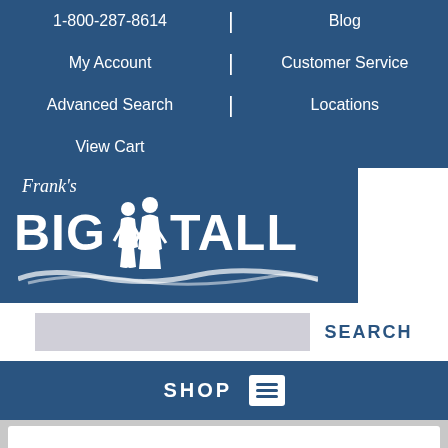1-800-287-8614 | Blog
My Account | Customer Service
Advanced Search | Locations
View Cart
[Figure (logo): Frank's Big & Tall logo with white silhouettes of two men on a dark blue background]
SEARCH
SHOP
The Colors You Wear and What They Mean
Think about your typical daily wardrobe. Now, think about what color you see repeating almost everyday. You may not realize it